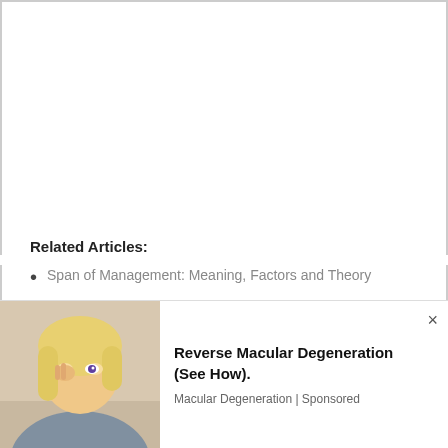Related Articles:
Span of Management: Meaning, Factors and Theory
Span of Management | Organisation
Graicunas Theory on the Span of Management |
[Figure (photo): Advertisement showing a woman with blonde hair covering one eye, with text about Macular Degeneration treatment]
Reverse Macular Degeneration (See How).
Macular Degeneration | Sponsored